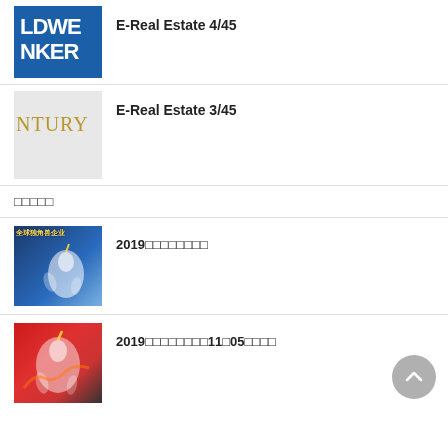[Figure (logo): Coldwell Banker logo — blue background with white text showing LDWE NKER (partially cropped)]
E-Real Estate 4/45
[Figure (logo): Century 21 logo — light grey background with gold text showing NTURY (partially cropped)]
E-Real Estate 3/45
□□□□□
[Figure (illustration): Unicorn illustration on blue background with Chinese text 全球独角兽企业]
2019□□□□□□□□
[Figure (illustration): Unicorn illustration on red background]
2019□□□□□□□□11□05□□□□